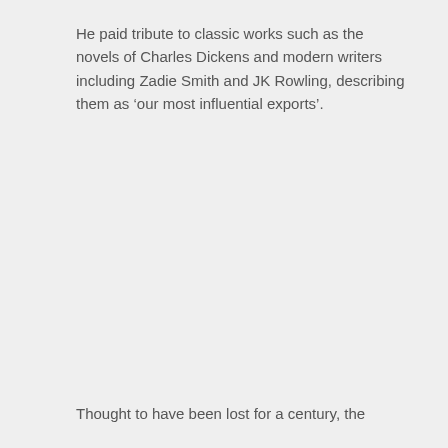He paid tribute to classic works such as the novels of Charles Dickens and modern writers including Zadie Smith and JK Rowling, describing them as ‘our most influential exports’.
Thought to have been lost for a century, the